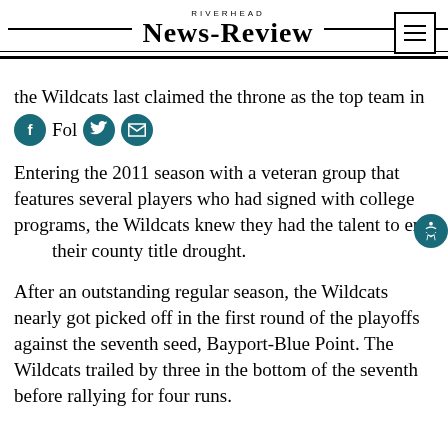RIVERHEAD NEWS-REVIEW
the Wildcats last claimed the throne as the top team in
Entering the 2011 season with a veteran group that features several players who had signed with college programs, the Wildcats knew they had the talent to end their county title drought.
After an outstanding regular season, the Wildcats nearly got picked off in the first round of the playoffs against the seventh seed, Bayport-Blue Point. The Wildcats trailed by three in the bottom of the seventh before rallying for four runs.